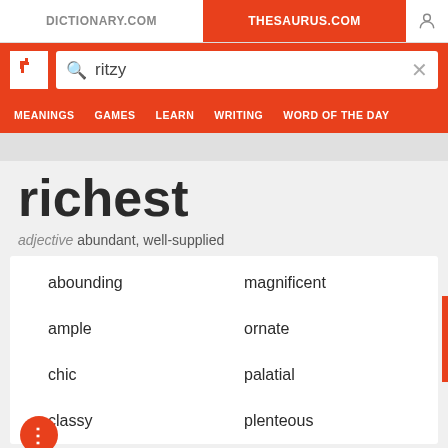DICTIONARY.COM | THESAURUS.COM
[Figure (screenshot): Thesaurus.com website header with search bar showing 'ritzy', navigation tabs: MEANINGS, GAMES, LEARN, WRITING, WORD OF THE DAY]
richest
adjective abundant, well-supplied
abounding, magnificent, ample, ornate, chic, palatial, classy, plenteous